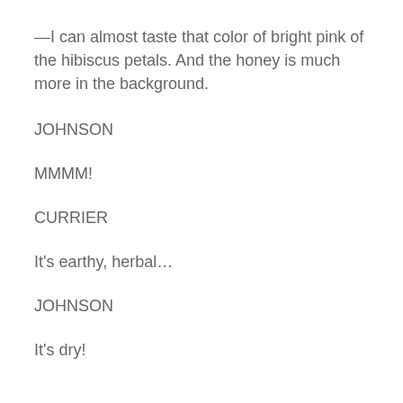—I can almost taste that color of bright pink of the hibiscus petals. And the honey is much more in the background.
JOHNSON
MMMM!
CURRIER
It's earthy, herbal...
JOHNSON
It's dry!